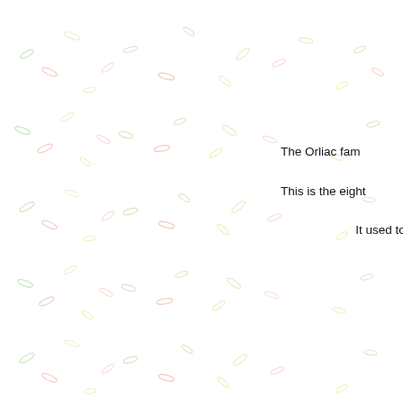[Figure (illustration): Decorative background pattern of small scattered leaf/grain shapes in light green, light red/salmon, and yellow-green colors, tiled across the entire page.]
The Orliac fam
This is the eight
It used to be a b ra